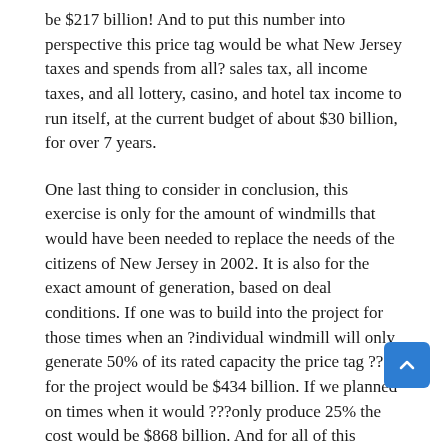be $217 billion! And to put this number into perspective this price tag would be what New Jersey taxes and spends from all? sales tax, all income taxes, and all lottery, casino, and hotel tax income to run itself, at the current budget of about $30 billion, for over 7 years.

One last thing to consider in conclusion, this exercise is only for the amount of windmills that would have been needed to replace the needs of the citizens of New Jersey in 2002. It is also for the exact amount of generation, based on deal conditions. If one was to build into the project for those times when an ?individual windmill will only generate 50% of its rated capacity the price tag ????for the project would be $434 billion. If we planned on times when it would ???only produce 25% the cost would be $868 billion. And for all of this money, we ????would still have to build conventional generation facilities for those times when no electricity is being produced by our almost $1 trillion windmill system. (Submitted by Dennis Mahon, President, LibertyAndProsperity.org)